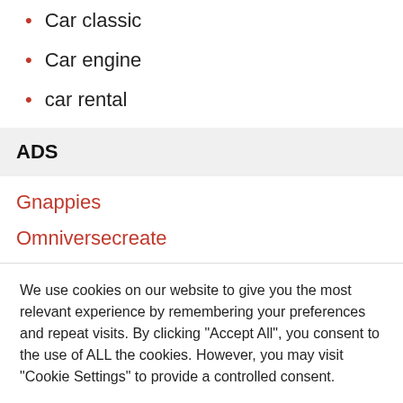Car classic
Car engine
car rental
ADS
Gnappies
Omniversecreate
We use cookies on our website to give you the most relevant experience by remembering your preferences and repeat visits. By clicking "Accept All", you consent to the use of ALL the cookies. However, you may visit "Cookie Settings" to provide a controlled consent.